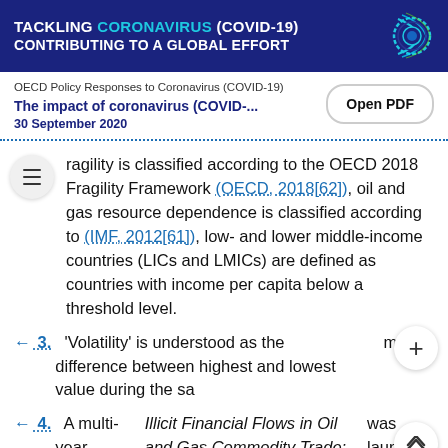TACKLING CORONAVIRUS (COVID-19) CONTRIBUTING TO A GLOBAL EFFORT
OECD Policy Responses to Coronavirus (COVID-19)
The impact of coronavirus (COVID-...
30 September 2020
Fragility is classified according to the OECD 2018 Fragility Framework (OECD, 2018[62]), oil and gas resource dependence is classified according to (IMF, 2012[61]), low- and lower middle-income countries (LICs and LMICs) are defined as countries with income per capita below a threshold level.
← 3.  'Volatility' is understood as the difference between highest and lowest value during the same month.
← 4.  A multi-year programme of work on Illicit Financial Flows in Oil and Gas Commodity Trade: Experience, lessons and proposals was launched by